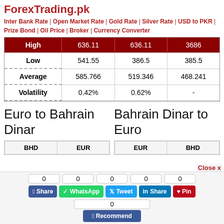ForexTrading.pk
Inter Bank Rate | Open Market Rate | Gold Rate | Silver Rate | USD to PKR | Prize Bond | Oil Price | Broker | Currency Converter
|  | Col1 | Col2 | Col3 |
| --- | --- | --- | --- |
| High | 636.11 | 636.11 | 3686 |
| Low | 541.55 | 386.5 | 385.5 |
| Average | 585.766 | 519.346 | 468.241 |
| Volatility | 0.42% | 0.62% | - |
Euro to Bahrain Dinar
Bahrain Dinar to Euro
| BHD | EUR |
| --- | --- |
| 0 | 0 |
| EUR | BHD |
| --- | --- |
| 0 | 0 |